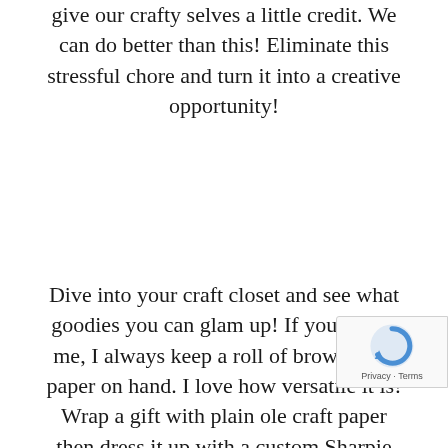give our crafty selves a little credit. We can do better than this! Eliminate this stressful chore and turn it into a creative opportunity!
Dive into your craft closet and see what goodies you can glam up! If you’re like me, I always keep a roll of brown craft paper on hand. I love how versatile it is! Wrap a gift with plain ole craft paper then dress it up with a custom Sharpie marker design! Some of my go-to options are a tic-tac game and a “finish the drawing” start sketch! These are perfect for those kiddos
[Figure (other): reCAPTCHA badge with Google logo and Privacy - Terms text]